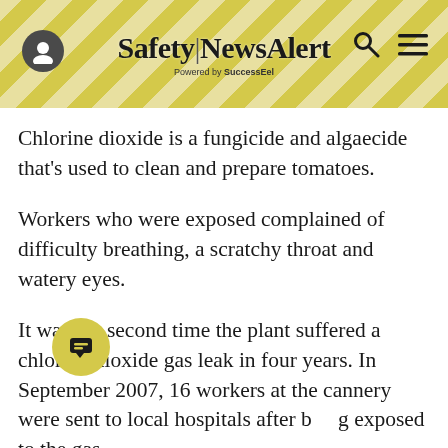Safety|NewsAlert Powered by SuccessEel
Chlorine dioxide is a fungicide and algaecide that’s used to clean and prepare tomatoes.
Workers who were exposed complained of difficulty breathing, a scratchy throat and watery eyes.
It was the second time the plant suffered a chlorine dioxide gas leak in four years. In September 2007, 16 workers at the cannery were sent to local hospitals after being exposed to the gas.
There was no risk to people outside of the building, because the gas was shut off…